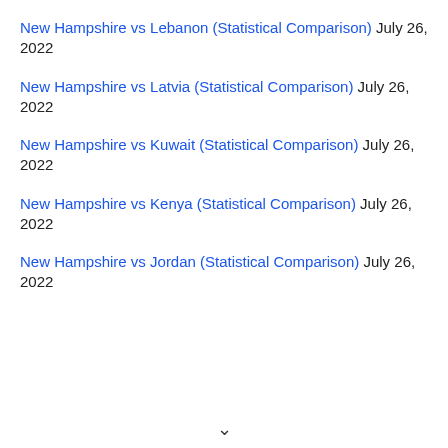New Hampshire vs Lebanon (Statistical Comparison) July 26, 2022
New Hampshire vs Latvia (Statistical Comparison) July 26, 2022
New Hampshire vs Kuwait (Statistical Comparison) July 26, 2022
New Hampshire vs Kenya (Statistical Comparison) July 26, 2022
New Hampshire vs Jordan (Statistical Comparison) July 26, 2022